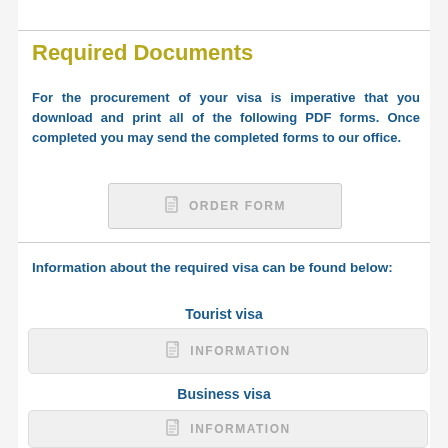Required Documents
For the procurement of your visa is imperative that you download and print all of the following PDF forms. Once completed you may send the completed forms to our office.
[Figure (other): ORDER FORM button with document icon]
Information about the required visa can be found below:
Tourist visa
[Figure (other): INFORMATION button with document icon for Tourist visa]
Business visa
[Figure (other): INFORMATION button with document icon for Business visa]